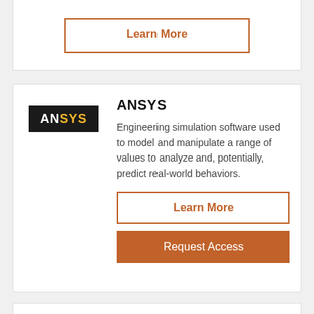Learn More
[Figure (logo): ANSYS logo — black rectangle with white AN and gold SYS text]
ANSYS
Engineering simulation software used to model and manipulate a range of values to analyze and, potentially, predict real-world behaviors.
Learn More
Request Access
[Figure (logo): COMSOL logo — blue flag icon with COMSOL text]
COMSOL